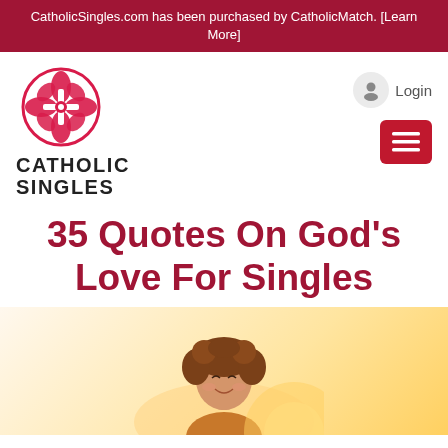CatholicSingles.com has been purchased by CatholicMatch. [Learn More]
[Figure (logo): Catholic Singles logo: pink/red floral cross emblem above text CATHOLIC SINGLES in bold black]
Login
35 Quotes On God's Love For Singles
[Figure (photo): Young woman with curly hair looking upward and smiling, warm sunlit background]